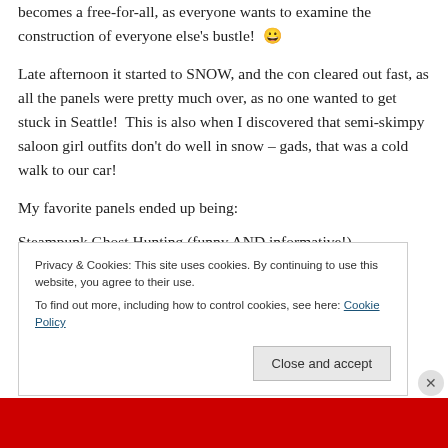becomes a free-for-all, as everyone wants to examine the construction of everyone else's bustle! 😀
Late afternoon it started to SNOW, and the con cleared out fast, as all the panels were pretty much over, as no one wanted to get stuck in Seattle!  This is also when I discovered that semi-skimpy saloon girl outfits don't do well in snow – gads, that was a cold walk to our car!
My favorite panels ended up being:
Steampunk Ghost Hunting (funny AND informative!)
Privacy & Cookies: This site uses cookies. By continuing to use this website, you agree to their use.
To find out more, including how to control cookies, see here: Cookie Policy